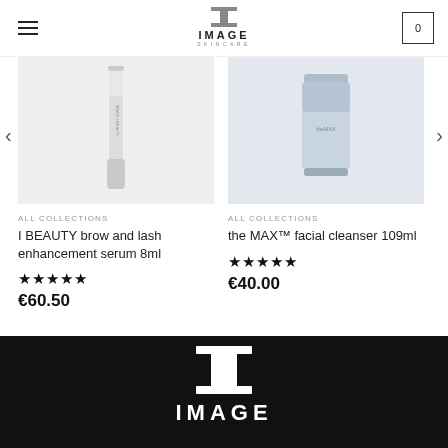[Figure (logo): IMAGE SKINCARE logo in header - stylized I lettermark with IMAGE SKINCARE text]
[Figure (photo): I BEAUTY brow and lash enhancement serum product photo - white/clear pen applicator on white background]
ALL COLLECTIONS
I BEAUTY brow and lash enhancement serum 8ml
★★★★★
€60.50
[Figure (photo): the MAX facial cleanser product photo - silver/blue tube on white background]
ALL COLLECTIONS
the MAX™ facial cleanser 109ml
★★★★★
€40.00
[Figure (logo): IMAGE SKINCARE logo in footer on black background - white stylized I lettermark with IMAGE text]